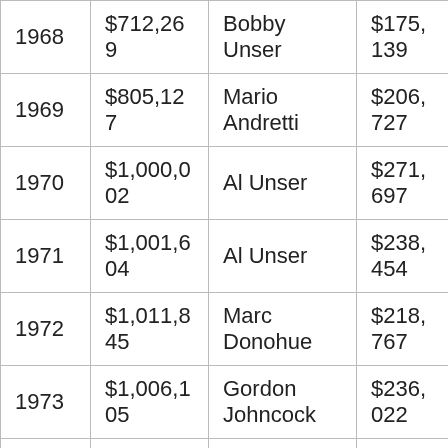| Year | Total Purse | Winner | Winner's Share |
| --- | --- | --- | --- |
| 1968 | $712,269 | Bobby Unser | $175,139 |
| 1969 | $805,127 | Mario Andretti | $206,727 |
| 1970 | $1,000,002 | Al Unser | $271,697 |
| 1971 | $1,001,604 | Al Unser | $238,454 |
| 1972 | $1,011,845 | Marc Donohue | $218,767 |
| 1973 | $1,006,105 | Gordon Johncock | $236,022 |
| 1974 | $1,015,686 | Johnny Rutherford | $031... |